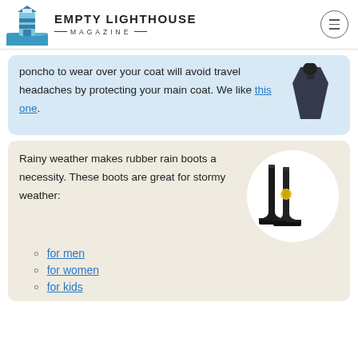EMPTY LIGHTHOUSE MAGAZINE
poncho to wear over your coat will avoid travel headaches by protecting your main coat. We like this one.
Rainy weather makes rubber rain boots a necessity. These boots are great for stormy weather:
for men
for women
for kids